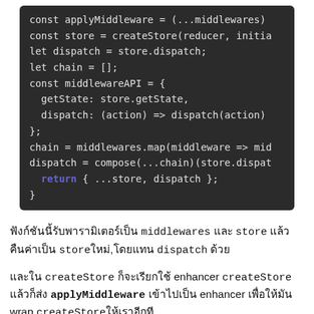[Figure (screenshot): Code block showing JavaScript Redux applyMiddleware implementation on dark background]
ฟังก์ชันนี้รับพารามิเตอร์เป็น middlewares และ store แล้วคืนค่าเป็น store ใหม่,โดยแทน dispatch ด้วย
และใน createStore ก็จะเรียกใช้ enhancer createStore แล้วก็ส่ง applyMiddleware เข้าไปเป็น enhancer เพื่อให้มัน wrap createStore ให้เราอีกที